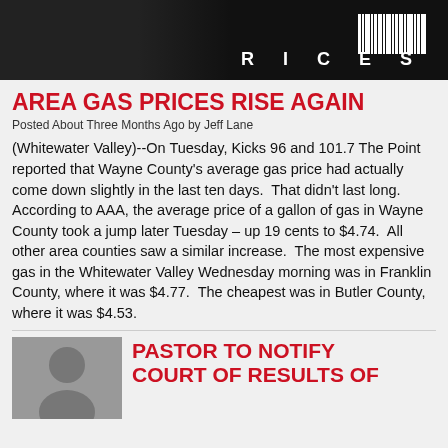[Figure (photo): Dark background image with 'PUSH HERE' button and 'PRICES' text in bold white letters, barcode-style graphic]
AREA GAS PRICES RISE AGAIN
Posted About Three Months Ago by Jeff Lane
(Whitewater Valley)--On Tuesday, Kicks 96 and 101.7 The Point reported that Wayne County's average gas price had actually come down slightly in the last ten days.  That didn't last long.  According to AAA, the average price of a gallon of gas in Wayne County took a jump later Tuesday – up 19 cents to $4.74.  All other area counties saw a similar increase.  The most expensive gas in the Whitewater Valley Wednesday morning was in Franklin County, where it was $4.77.  The cheapest was in Butler County, where it was $4.53.
[Figure (photo): Headshot photo of a person]
PASTOR TO NOTIFY COURT OF RESULTS OF